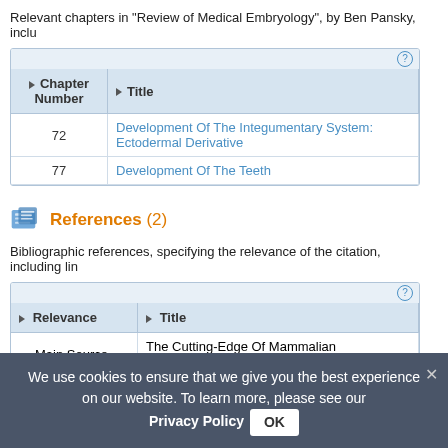Relevant chapters in "Review of Medical Embryology", by Ben Pansky, inclu...
| Chapter Number | Title |
| --- | --- |
| 72 | Development Of The Integumentary System: Ectodermal Derivative... |
| 77 | Development Of The Teeth |
References (2)
Bibliographic references, specifying the relevance of the citation, including lin...
| Relevance | Title |
| --- | --- |
| Main Source | The Cutting-Edge Of Mammalian Development; How The E... |
| Main Source
Development | Tooth Organogenesis And Regeneration |
We use cookies to ensure that we give you the best experience on our website. To learn more, please see our Privacy Policy  OK